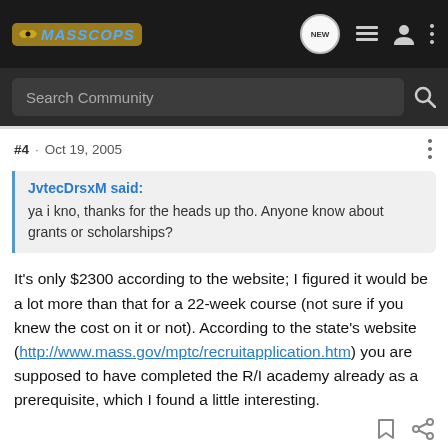[Figure (screenshot): MassCops forum website navigation bar with logo, NEW chat bubble icon, list icon, user icon, and three-dot menu icon on dark background]
[Figure (screenshot): Search Community input bar with magnifying glass icon on dark background]
#4 · Oct 19, 2005
JvtecDrsxM said:
ya i kno, thanks for the heads up tho. Anyone know about grants or scholarships?
It's only $2300 according to the website; I figured it would be a lot more than that for a 22-week course (not sure if you knew the cost on it or not). According to the state's website (http://www.mass.gov/mptc/recruitapplication.htm) you are supposed to have completed the R/I academy already as a prerequisite, which I found a little interesting.